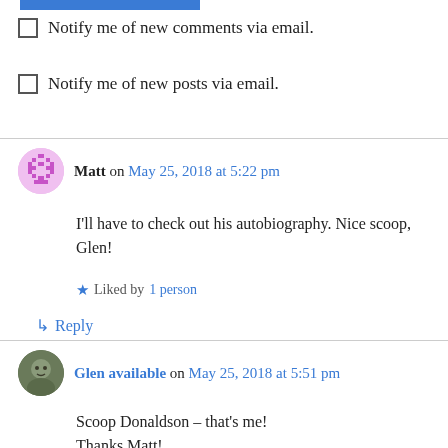[Figure (other): Blue horizontal bar at top]
Notify me of new comments via email.
Notify me of new posts via email.
Matt on May 25, 2018 at 5:22 pm
I'll have to check out his autobiography. Nice scoop, Glen!
Liked by 1 person
Reply
Glen available on May 25, 2018 at 5:51 pm
Scoop Donaldson – that's me! Thanks Matt!